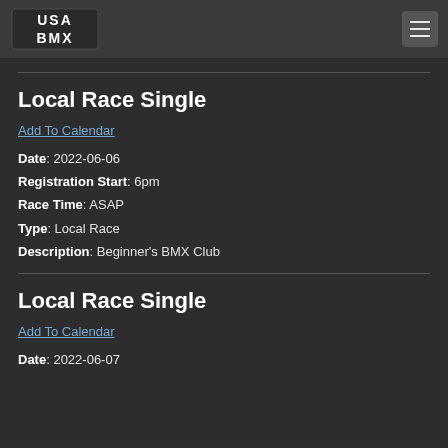USA BMX
Local Race Single
Add To Calendar
Date: 2022-06-06
Registration Start: 6pm
Race Time: ASAP
Type: Local Race
Description: Beginner's BMX Club
Local Race Single
Add To Calendar
Date: 2022-06-07